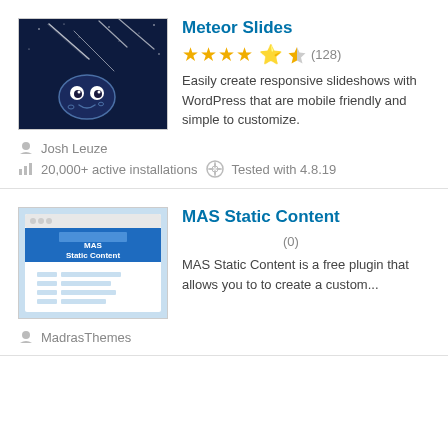[Figure (screenshot): Meteor Slides plugin thumbnail: dark background with meteors and a cartoon meteor character]
Meteor Slides
★★★★½ (128)
Easily create responsive slideshows with WordPress that are mobile friendly and simple to customize.
Josh Leuze
20,000+ active installations   Tested with 4.8.19
[Figure (screenshot): MAS Static Content plugin thumbnail: blue and light blue browser window mockup with MAS Static Content label]
MAS Static Content
☆☆☆☆☆ (0)
MAS Static Content is a free plugin that allows you to to create a custom...
MadrasThemes